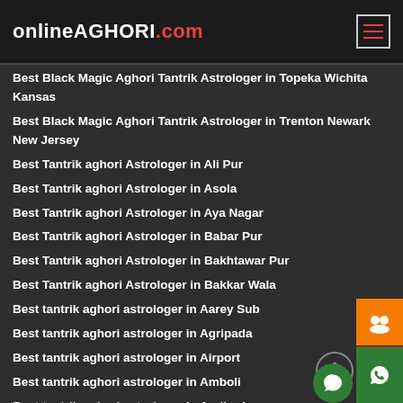onlineAGHORI.com
Best Black Magic Aghori Tantrik Astrologer in Topeka Wichita Kansas
Best Black Magic Aghori Tantrik Astrologer in Trenton Newark New Jersey
Best Tantrik aghori Astrologer in Ali Pur
Best Tantrik aghori Astrologer in Asola
Best Tantrik aghori Astrologer in Aya Nagar
Best Tantrik aghori Astrologer in Babar Pur
Best Tantrik aghori Astrologer in Bakhtawar Pur
Best Tantrik aghori Astrologer in Bakkar Wala
Best tantrik aghori astrologer in Aarey Sub
Best tantrik aghori astrologer in Agripada
Best tantrik aghori astrologer in Airport
Best tantrik aghori astrologer in Amboli
Best tantrik aghori astrologer in Andheri
Best tantrik aghori astrologer in Antop Hill
Best tantrik aghori astrologer in Azad Maidan